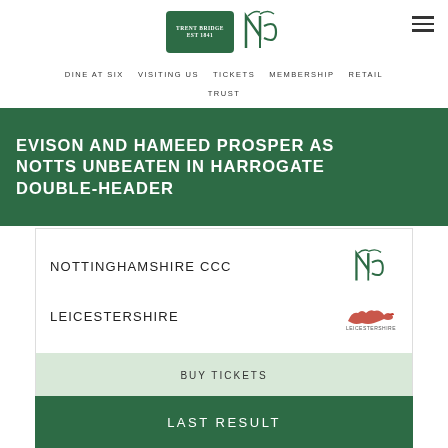DINE AT SIX  VISITING US  TICKETS  MEMBERSHIP  RETAIL  TRUST
EVISON AND HAMEED PROSPER AS NOTTS UNBEATEN IN HARROGATE DOUBLE-HEADER
NOTTINGHAMSHIRE CCC
LEICESTERSHIRE
BUY TICKETS
LAST RESULT